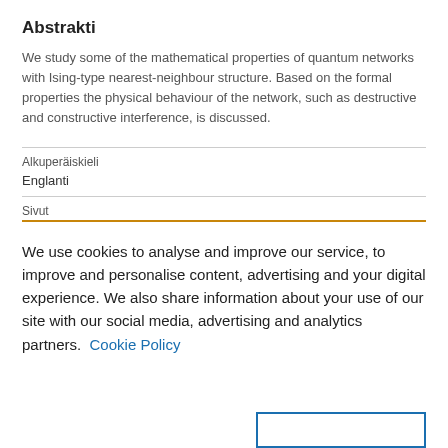Abstrakti
We study some of the mathematical properties of quantum networks with Ising-type nearest-neighbour structure. Based on the formal properties the physical behaviour of the network, such as destructive and constructive interference, is discussed.
| Alkuperäiskieli |  |
| Englanti |  |
| Sivut |  |
We use cookies to analyse and improve our service, to improve and personalise content, advertising and your digital experience. We also share information about your use of our site with our social media, advertising and analytics partners.  Cookie Policy